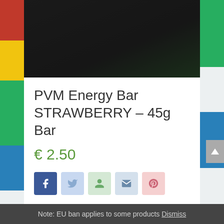[Figure (photo): Product photo of PVM Energy Bar Strawberry against a dark background]
PVM Energy Bar STRAWBERRY – 45g Bar
€ 2.50
[Figure (infographic): Social sharing icons: Facebook, Twitter, Google+, Email, Pinterest]
Note: EU ban applies to some products Dismiss